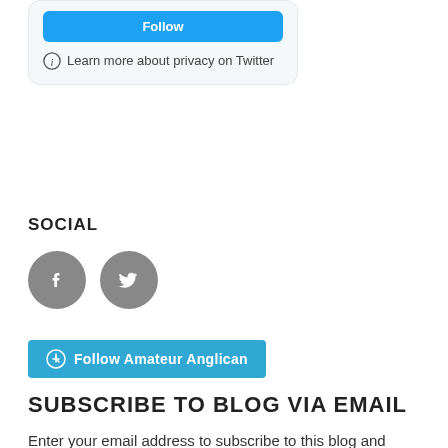[Figure (screenshot): Twitter embedded widget card with a blue follow button and privacy info text 'Learn more about privacy on Twitter' with an info icon, on a light grey rounded background]
SOCIAL
[Figure (other): Two circular grey social media icons: Facebook (f) and Twitter (bird)]
[Figure (other): Follow button with WordPress icon reading 'Follow Amateur Anglican' in teal/blue]
SUBSCRIBE TO BLOG VIA EMAIL
Enter your email address to subscribe to this blog and receive